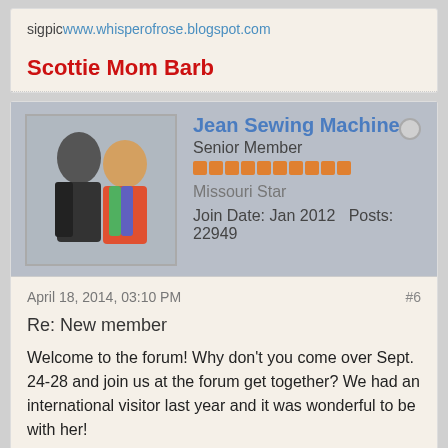sigpic www.whisperofrose.blogspot.com
Scottie Mom Barb
Jean Sewing Machine
Senior Member
Missouri Star
Join Date: Jan 2012  Posts: 22949
April 18, 2014, 03:10 PM
#6
Re: New member
Welcome to the forum! Why don't you come over Sept. 24-28 and join us at the forum get together? We had an international visitor last year and it was wonderful to be with her!